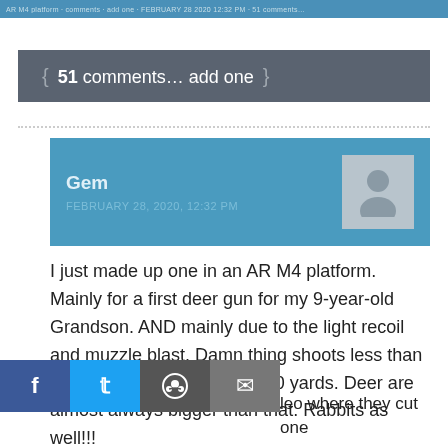{ 51 comments… add one }
Gem
FEBRUARY 28, 2020, 12:32 PM
I just made up one in an AR M4 platform. Mainly for a first deer gun for my 9-year-old Grandson. AND mainly due to the light recoil and muzzle blast. Damn thing shoots less than 2-inch groups off-hand at 100 yards. Deer are almost always bigger than that. Rabbits as well!!!
leo where they cut one